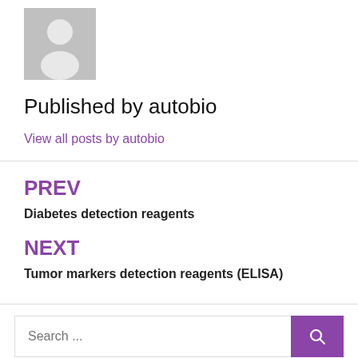[Figure (illustration): Generic user avatar placeholder image — grey silhouette of a person on grey background]
Published by autobio
View all posts by autobio
PREV
Diabetes detection reagents
NEXT
Tumor markers detection reagents (ELISA)
Search ...